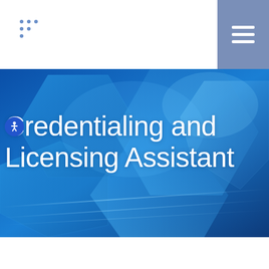[Figure (logo): Small grid of blue dots forming a cross/plus logo mark in upper left of header]
[Figure (infographic): Hamburger menu icon (three horizontal white lines) on a blue-grey square background in upper right corner]
[Figure (photo): Abstract blue geometric hexagon background hero image with light streaks and glowing blue facets]
[Figure (illustration): Circular accessibility/wheelchair icon in blue circle, positioned to the left of the title text]
Credentialing and Licensing Assistant